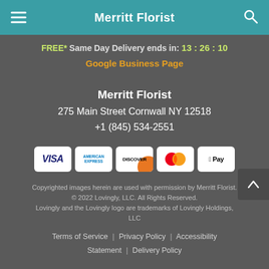Merritt Florist
FREE* Same Day Delivery ends in: 13:26:10
Google Business Page
Merritt Florist
275 Main Street Cornwall NY 12518
+1 (845) 534-2551
[Figure (other): Payment method icons: Visa, American Express, Discover, Mastercard, Apple Pay]
Copyrighted images herein are used with permission by Merritt Florist. © 2022 Lovingly, LLC. All Rights Reserved. Lovingly and the Lovingly logo are trademarks of Lovingly Holdings, LLC
Terms of Service | Privacy Policy | Accessibility Statement | Delivery Policy